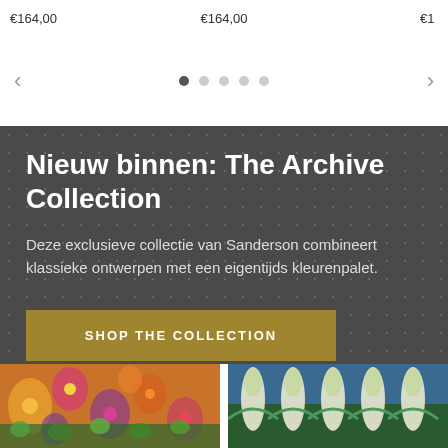€164,00   €164,00   €1
< (carousel navigation left arrow)
> (carousel navigation right arrow)
Nieuw binnen: The Archive Collection
Deze exclusieve collectie van Sanderson combineert klassieke ontwerpen met een eigentijds kleurenpalet.
SHOP THE COLLECTION
[Figure (photo): Colorful floral wallpaper pattern with orange, pink, purple and green flowers on dark background]
[Figure (photo): Art nouveau style tulip wallpaper pattern in blue and green tones]